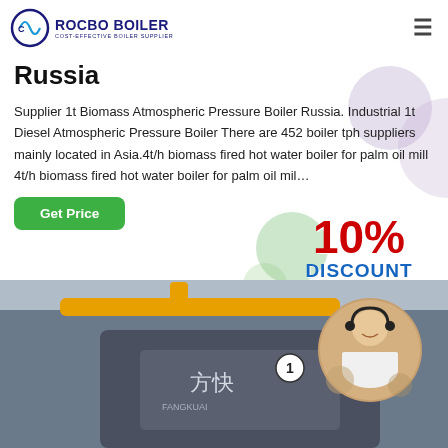[Figure (logo): Rocbo Boiler logo with circular icon on left and company name ROCBO BOILER with tagline COST-EFFECTIVE BOILER SUPPLIER]
Russia
Supplier 1t Biomass Atmospheric Pressure Boiler Russia. Industrial 1t Diesel Atmospheric Pressure Boiler There are 452 boiler tph suppliers mainly located in Asia.4t/h biomass fired hot water boiler for palm oil mill 4t/h biomass fired hot water boiler for palm oil mil…
[Figure (infographic): 10% DISCOUNT promotional badge with decorative colored circles]
[Figure (photo): Industrial boiler equipment with Chinese text and a customer service representative inset photo]